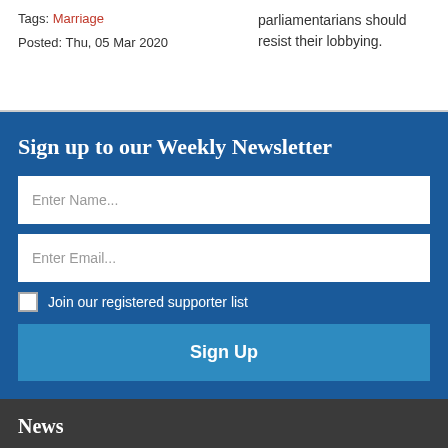Tags: Marriage
Posted: Thu, 05 Mar 2020
parliamentarians should resist their lobbying.
Sign up to our Weekly Newsletter
Enter Name...
Enter Email...
Join our registered supporter list
Sign Up
News